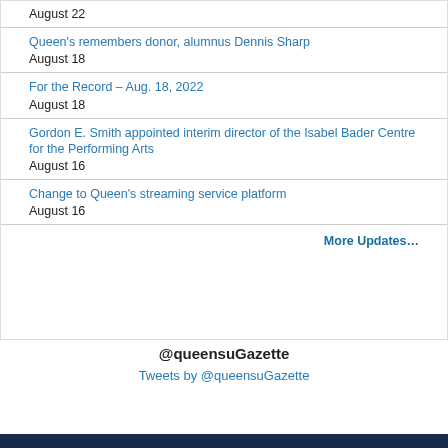August 22
Queen's remembers donor, alumnus Dennis Sharp
August 18
For the Record – Aug. 18, 2022
August 18
Gordon E. Smith appointed interim director of the Isabel Bader Centre for the Performing Arts
August 16
Change to Queen's streaming service platform
August 16
More Updates...
@queensuGazette
Tweets by @queensuGazette